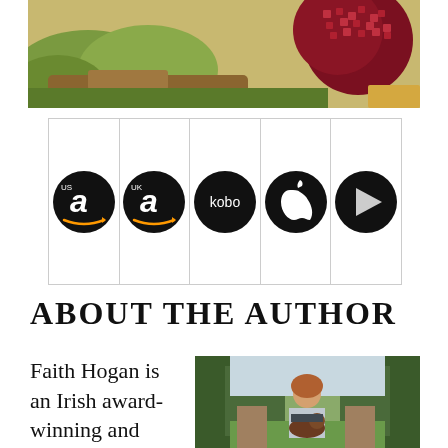[Figure (photo): Top portion of a book cover or decorative image showing an outdoor scene with green foliage and what appears to be a pomegranate on the right side]
[Figure (infographic): Row of five black circular store icons: Amazon US, Amazon UK, Kobo, Apple, and Google Play]
ABOUT THE AUTHOR
Faith Hogan is an Irish award-winning and
[Figure (photo): Author photo of a woman with curly red hair smiling outdoors in a garden setting, holding a dog, with hedges in the background]